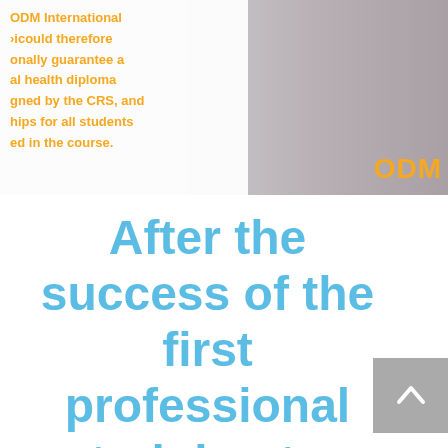[Figure (photo): Banner image showing ODM International branding with yellow text on white/grey background, partially showing a blurred photo. Text reads: 'ODM International picould therefore onally guarantee a al health diploma gned by the CRS, and hips for all students ed in the course.' with ODM logo at bottom right.]
After the success of the first professional training to obtain a federal certificate of mastery for masseurs,